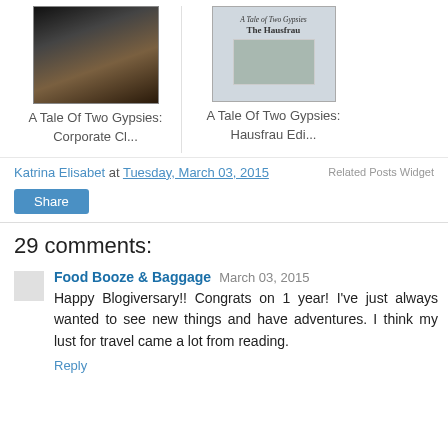[Figure (photo): Book thumbnail: A Tale Of Two Gypsies Corporate Edition - photo of computer setup with monitors and keyboard]
A Tale Of Two Gypsies: Corporate Cl...
[Figure (photo): Book thumbnail: A Tale Of Two Gypsies Hausfrau Edition - cover showing house in snowy landscape with script title 'A Tale of Two Gypsies The Hausfrau']
A Tale Of Two Gypsies: Hausfrau Edi...
Katrina Elisabet at Tuesday, March 03, 2015
Related Posts Widget
Share
29 comments:
Food Booze & Baggage  March 03, 2015
Happy Blogiversary!! Congrats on 1 year! I've just always wanted to see new things and have adventures. I think my lust for travel came a lot from reading.
Reply